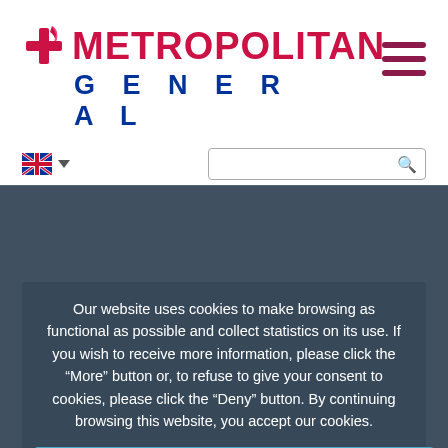[Figure (logo): Metropolitan General hospital logo with red cross/plus icon, red 'METROPOLITAN' text and blue 'GENERAL' text]
[Figure (infographic): Hamburger/menu icon with three horizontal crimson bars]
[Figure (infographic): UK flag language selector with dropdown arrow]
[Figure (screenshot): Search box with magnifying glass icon]
Our website uses cookies to make browsing as functional as possible and collect statistics on its use. If you wish to receive more information, please click the “More” button or, to refuse to give your consent to cookies, please click the “Deny” button. By continuing browsing this website, you accept our cookies.
Accept All
Deny All
Settings
More